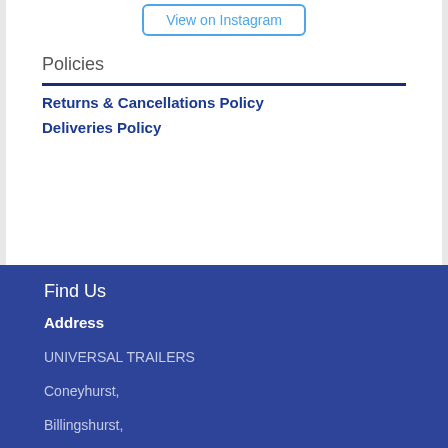[Figure (other): View on Instagram button]
Policies
Returns & Cancellations Policy
Deliveries Policy
Find Us
Address
UNIVERSAL TRAILERS
Coneyhurst,
Billingshurst,
West Sussex,